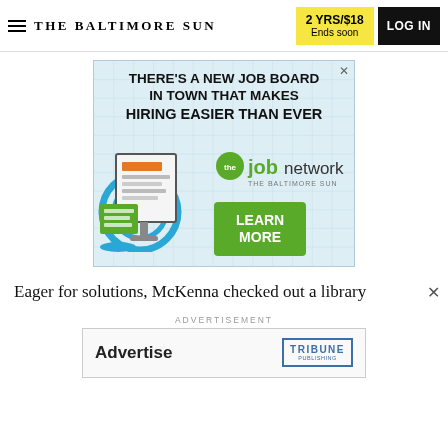THE BALTIMORE SUN | 2 YRS/$18 Ends soon | LOG IN
[Figure (infographic): Advertisement banner for theJobNetwork – The Baltimore Sun job board. Text reads: THERE'S A NEW JOB BOARD IN TOWN THAT MAKES HIRING EASIER THAN EVER. Shows a document/computer illustration, the jobnetwork logo with 'THE BALTIMORE SUN' below, and a green LEARN MORE button.]
Eager for solutions, McKenna checked out a library
ADVERTISEMENT
[Figure (infographic): Advertisement banner: 'Advertise' text on the left and Tribune Publishing logo on the right.]